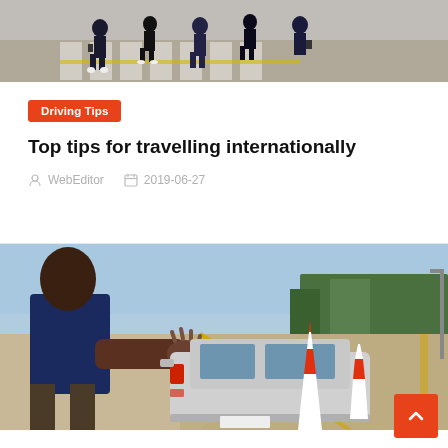[Figure (photo): People crossing a street at a zebra crossing, view from above or street level, wearing dark clothing]
Driving Tips
Top tips for travelling internationally
WebEditor  2019-06-27
[Figure (photo): Traffic officer or person directing traffic near a car at a road checkpoint with orange traffic cones and a yellow center line road]